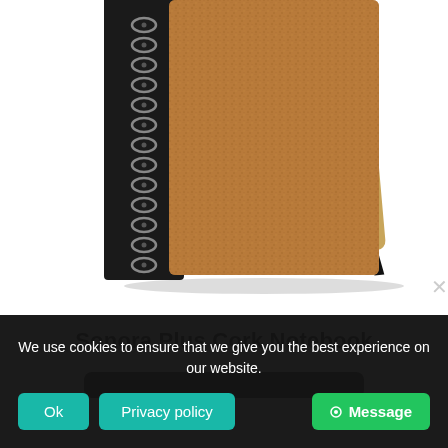[Figure (photo): A spiral-bound cork notebook with a black spine and bamboo pen resting on the right side, photographed from above on a white background. The notebook has a cork-textured cover and black wire spiral binding on the left.]
Sonora Plus Cork Notebook
We use cookies to ensure that we give you the best experience on our website.
Ok
Privacy policy
Message